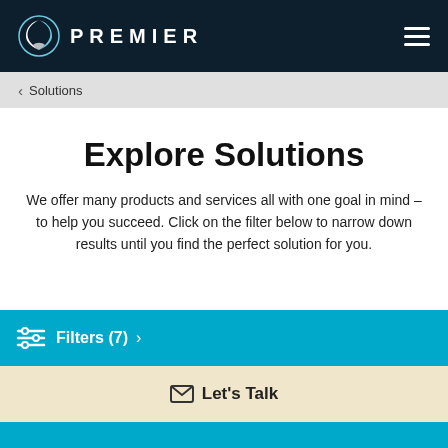PREMIER
< Solutions
Explore Solutions
We offer many products and services all with one goal in mind – to help you succeed. Click on the filter below to narrow down results until you find the perfect solution for you.
Filters (7) >
Let's Talk